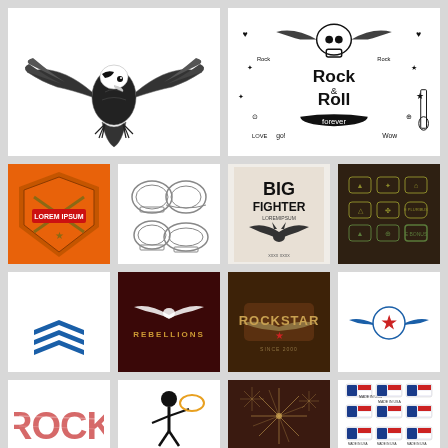[Figure (illustration): Hand-drawn bald eagle with wings spread, black and white line art]
[Figure (illustration): Rock and Roll doodle set with skull, wings, guitars, and various rock symbols. Text reads 'Rock & Roll forever']
[Figure (illustration): Orange badge with crossed rifles and LOREM IPSUM text, military style emblem]
[Figure (illustration): Four round badge/label outlines in vintage style, white background]
[Figure (illustration): Big Fighter text with bat wings emblem on aged background]
[Figure (illustration): Dark brown background with military rank/patch icons in gold/green]
[Figure (illustration): Blue military chevron/wings rank insignia on white]
[Figure (illustration): Rebellions text with eagle wings on dark red background]
[Figure (illustration): Rockstar text badge with wings on dark brown background]
[Figure (illustration): Blue and red star with wings circle logo on white]
[Figure (illustration): ROCK text in distressed style, partial view]
[Figure (illustration): Silhouette of person with lasso on white background]
[Figure (illustration): Dark background with starburst/fireworks patterns]
[Figure (illustration): Made in USA badge stickers with American flags, multiple variants]